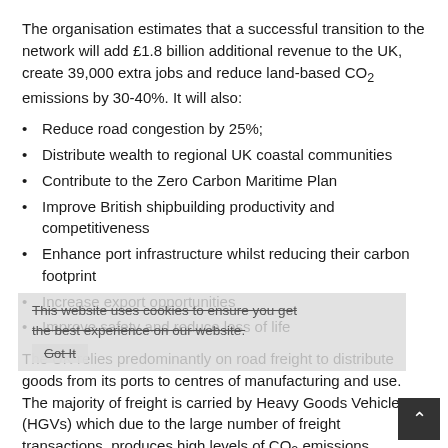The organisation estimates that a successful transition to the network will add £1.8 billion additional revenue to the UK, create 39,000 extra jobs and reduce land-based CO₂ emissions by 30-40%. It will also:
Reduce road congestion by 25%;
Distribute wealth to regional UK coastal communities
Contribute to the Zero Carbon Maritime Plan
Improve British shipbuilding productivity and competitiveness
Enhance port infrastructure whilst reducing their carbon footprint
Increase export opportunities
Improve safety and reduce loss of life
The UK relies predominantly on road freight to distribute goods from its ports to centres of manufacturing and use. The majority of freight is carried by Heavy Goods Vehicles (HGVs) which due to the large number of freight transactions, produces high levels of CO₂ emissions, worsens air quality and increases the risk of road accidents.